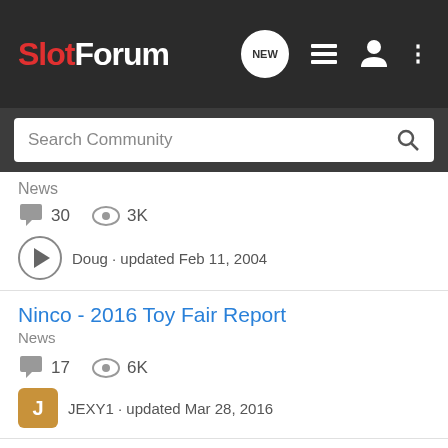SlotForum
Search Community
News
30  3K  Doug · updated Feb 11, 2004
Ninco - 2016 Toy Fair Report
News
17  6K  JEXY1 · updated Mar 28, 2016
Resin Slot Car - A new Company hits the market
News
27  11K